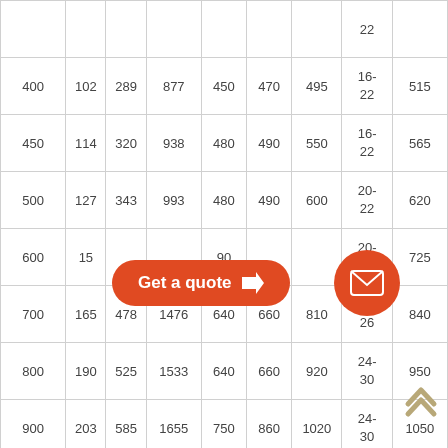|  |  |  |  |  |  |  | 22 |  |
| 400 | 102 | 289 | 877 | 450 | 470 | 495 | 16-22 | 515 |
| 450 | 114 | 320 | 938 | 480 | 490 | 550 | 16-22 | 565 |
| 500 | 127 | 343 | 993 | 480 | 490 | 600 | 20-22 | 620 |
| 600 | 15… | … | …90 | … | …5 | …0-…5…6 | …0-…5 | 725 |
| 700 | 165 | 478 | 1476 | 640 | 660 | 810 | 24-26 | 840 |
| 800 | 190 | 525 | 1533 | 640 | 660 | 920 | 24-30 | 950 |
| 900 | 203 | 585 | 1655 | 750 | 860 | 1020 | 24-30 | 1050 |
|  |  |  |  |  |  |  |  |  |